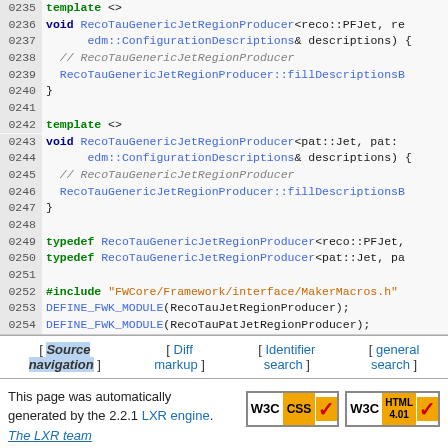[Figure (screenshot): Source code listing showing C++ template specializations for RecoTauGenericJetRegionProducer with line numbers 0235-0254, including typedef and DEFINE_FWK_MODULE macros]
[ Source navigation ] [ Diff markup ] [ Identifier search ] [ general search ]
This page was automatically generated by the 2.2.1 LXR engine. The LXR team
[Figure (logo): W3C CSS and W3C HTML 4.01 validation badges]